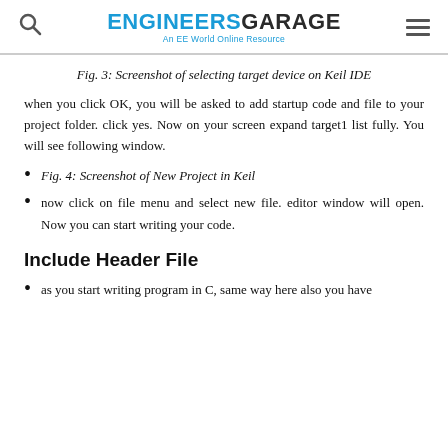ENGINEERS GARAGE — An EE World Online Resource
Fig. 3: Screenshot of selecting target device on Keil IDE
when you click OK, you will be asked to add startup code and file to your project folder. click yes. Now on your screen expand target1 list fully. You will see following window.
Fig. 4: Screenshot of New Project in Keil
now click on file menu and select new file. editor window will open. Now you can start writing your code.
Include Header File
as you start writing program in C, same way here also you have